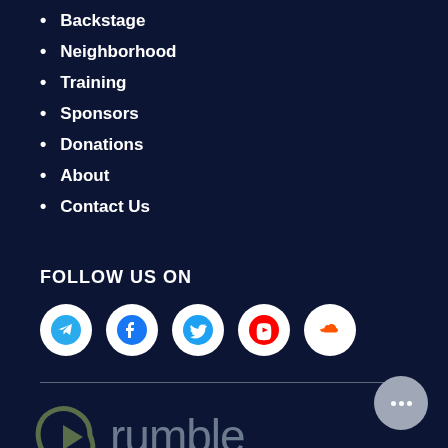Backstage
Neighborhood
Training
Sponsors
Donations
About
Contact Us
FOLLOW US ON
[Figure (logo): Social media icons: Telegram (blue), Facebook (blue), Twitter (blue), YouTube (red), SoundCloud (orange) — each in white circular buttons]
[Figure (logo): Rumble video platform logo — dark olive/green stylized play button icon with grey 'rumble' text]
[Figure (other): Grey circular chat/messaging button with three white dots]